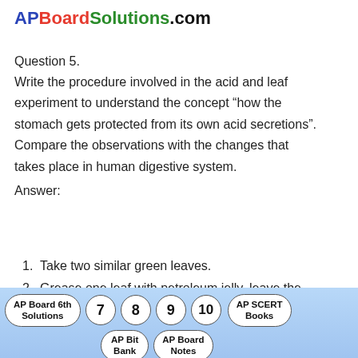APBoardSolutions.com
Question 5.
Write the procedure involved in the acid and leaf experiment to understand the concept “how the stomach gets protected from its own acid secretions”. Compare the observations with the changes that takes place in human digestive system.
Answer:
Take two similar green leaves.
Grease one leaf with petroleum jelly, leave the other free.
AP Board 6th Solutions | 7 | 8 | 9 | 10 | AP SCERT Books | AP Bit Bank | AP Board Notes